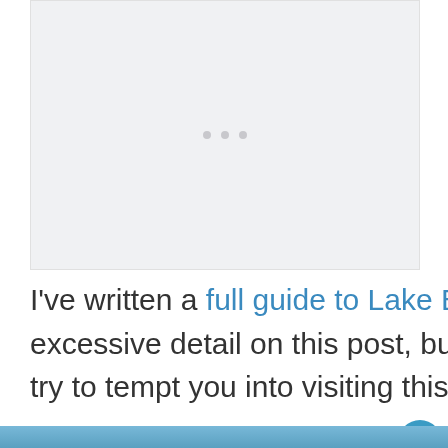[Figure (photo): Large image placeholder with three dots indicator, light gray background]
I've written a full guide to Lake Batabat here, so I won't go into excessive detail on this post, but I'll leave with you some photos to try to tempt you into visiting this gorgeous part of Nakhchivan.
[Figure (photo): Bottom edge of another image, blue/teal color, partial view at bottom of page]